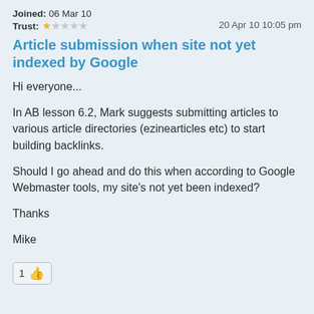Joined: 06 Mar 10
Trust: ★☆☆☆☆   20 Apr 10 10:05 pm
Article submission when site not yet indexed by Google
Hi everyone...

In AB lesson 6.2, Mark suggests submitting articles to various article directories (ezinearticles etc) to start building backlinks.

Should I go ahead and do this when according to Google Webmaster tools, my site's not yet been indexed?

Thanks

Mike
1 👍